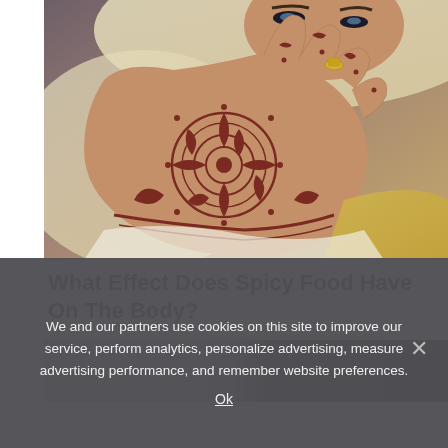[Figure (photo): A woman wearing a white hijab holding her hand up to her face, with intricate henna/mehndi patterns on her hand and fingers, wearing a ring.]
What Effect Does Spicy Food Have On The Body?
Brainberries
[Figure (photo): Partial photo of a woman, bottom portion of a content card.]
We and our partners use cookies on this site to improve our service, perform analytics, personalize advertising, measure advertising performance, and remember website preferences.
Ok